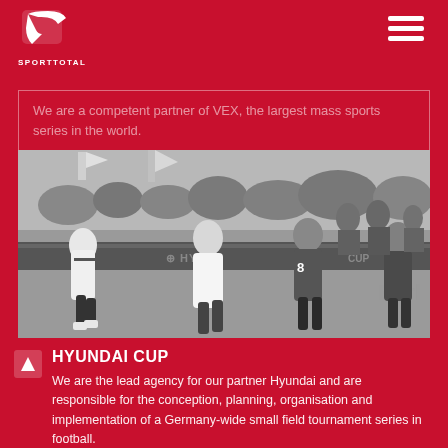SPORTTOTAL
We are a competent partner of VEX, the largest mass sports series in the world.
[Figure (photo): Black and white photograph of football players competing in a small-field tournament, with crowd and Hyundai Cup 2015 Berlin signage visible in the background.]
HYUNDAI CUP
We are the lead agency for our partner Hyundai and are responsible for the conception, planning, organisation and implementation of a Germany-wide small field tournament series in football.